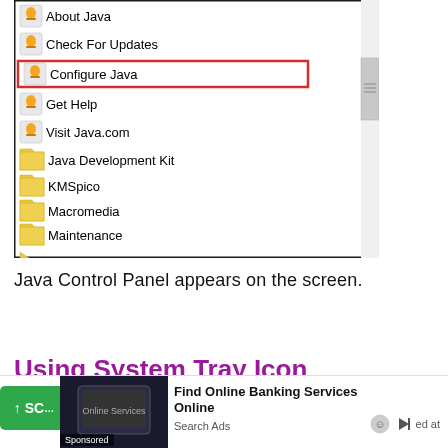[Figure (screenshot): Windows Start Menu context showing Java submenu items: About Java, Check For Updates, Configure Java (highlighted with red border), Get Help, Visit Java.com, and folder items Java Development Kit, KMSpico, Macromedia, Maintenance, Node.js]
Java Control Panel appears on the screen.
Using System Tray Icon
[Figure (screenshot): Advertisement bar with green scroll button, sponsored image of a tablet, and ad text: Find Online Banking Services Online, Search Ads]